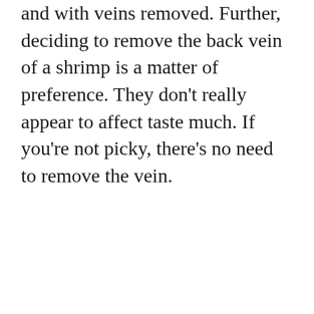and with veins removed. Further, deciding to remove the back vein of a shrimp is a matter of preference. They don't really appear to affect taste much. If you're not picky, there's no need to remove the vein.